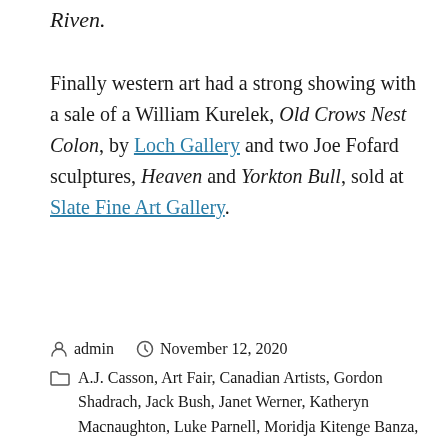Riven.
Finally western art had a strong showing with a sale of a William Kurelek, Old Crows Nest Colon, by Loch Gallery and two Joe Fofard sculptures, Heaven and Yorkton Bull, sold at Slate Fine Art Gallery.
admin  November 12, 2020  A.J. Casson, Art Fair, Canadian Artists, Gordon Shadrach, Jack Bush, Janet Werner, Katheryn Macnaughton, Luke Parnell, Moridja Kitenge Banza,